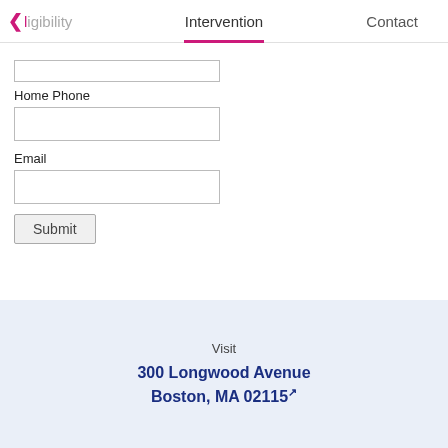Eligibility  Intervention  Contact
Home Phone
Email
Submit
Visit
300 Longwood Avenue
Boston, MA 02115